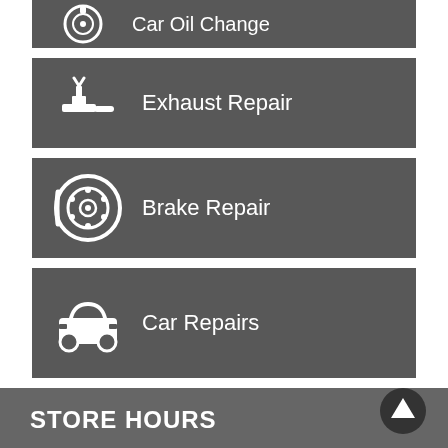Car Oil Change (partial)
Exhaust Repair
Brake Repair
Car Repairs
STORE HOURS
| Day | Hours |
| --- | --- |
| MONDAY: | 8:00 AM - 5:00 PM |
| TUESDAY: | 8:00 AM - 5:00 PM |